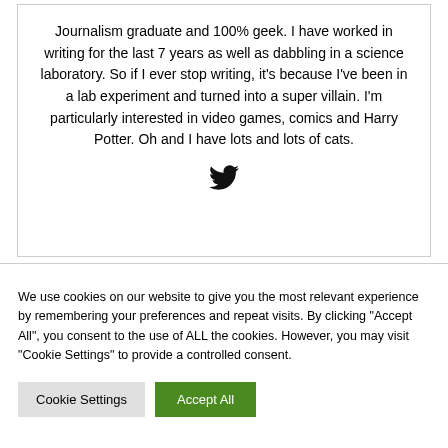Journalism graduate and 100% geek. I have worked in writing for the last 7 years as well as dabbling in a science laboratory. So if I ever stop writing, it's because I've been in a lab experiment and turned into a super villain. I'm particularly interested in video games, comics and Harry Potter. Oh and I have lots and lots of cats.
[Figure (illustration): Twitter bird icon (social media logo)]
We use cookies on our website to give you the most relevant experience by remembering your preferences and repeat visits. By clicking "Accept All", you consent to the use of ALL the cookies. However, you may visit "Cookie Settings" to provide a controlled consent.